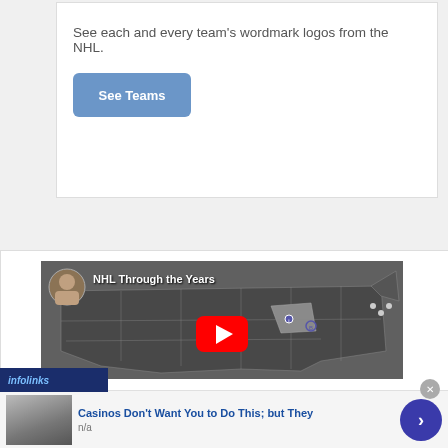See each and every team's wordmark logos from the NHL.
[Figure (screenshot): Blue 'See Teams' button with rounded corners on white background]
[Figure (screenshot): YouTube video thumbnail showing NHL Through the Years with a map of North America and a YouTube play button in the center]
[Figure (screenshot): Infolinks advertisement bar showing 'Casinos Don't Want You to Do This; but They' with a thumbnail image and navigation arrow button]